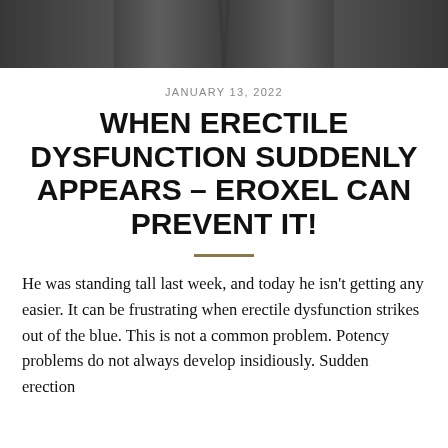[Figure (photo): Cropped photo showing lower portion of a person wearing dark athletic shorts, from waist down]
JANUARY 13, 2022
WHEN ERECTILE DYSFUNCTION SUDDENLY APPEARS – EROXEL CAN PREVENT IT!
He was standing tall last week, and today he isn't getting any easier. It can be frustrating when erectile dysfunction strikes out of the blue. This is not a common problem. Potency problems do not always develop insidiously. Sudden erection